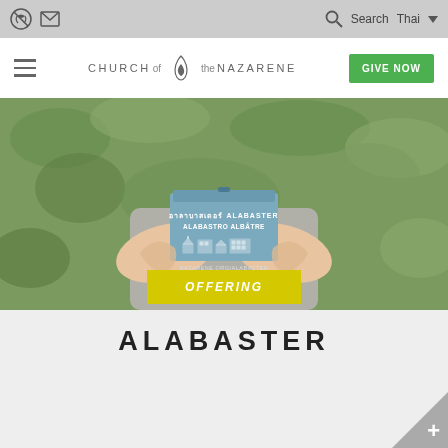Church of the Nazarene — navigation bar with phone, email icons, Search, Thai language selector, hamburger menu, logo, GIVE NOW button
[Figure (photo): Hands holding a blue Alabaster offering box with text 'ALABASTER ALABASTRO ALBÂTRE' and building icons, against a green leafy background]
OFFERING
ALABASTER